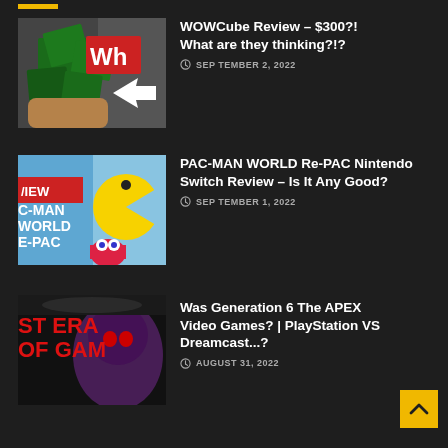WOWCube Review – $300?! What are they thinking?!? — SEPTEMBER 2, 2022
PAC-MAN WORLD Re-PAC Nintendo Switch Review – Is It Any Good? — SEPTEMBER 1, 2022
Was Generation 6 The APEX Video Games? | PlayStation VS Dreamcast...? — AUGUST 31, 2022